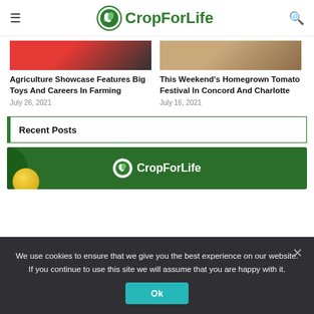CropForLife
Agriculture Showcase Features Big Toys And Careers In Farming
July 26, 2021
This Weekend's Homegrown Tomato Festival In Concord And Charlotte
July 16, 2021
Recent Posts
[Figure (logo): CropForLife logo on green banner background]
We use cookies to ensure that we give you the best experience on our website. If you continue to use this site we will assume that you are happy with it.